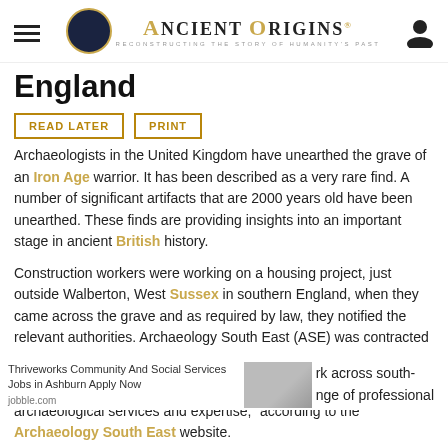Ancient Origins — Reconstructing the Story of Humanity's Past
England
READ LATER
PRINT
Archaeologists in the United Kingdom have unearthed the grave of an Iron Age warrior. It has been described as a very rare find. A number of significant artifacts that are 2000 years old have been unearthed. These finds are providing insights into an important stage in ancient British history.
Construction workers were working on a housing project, just outside Walberton, West Sussex in southern England, when they came across the grave and as required by law, they notified the relevant authorities. Archaeology South East (ASE) was contracted
rk across south- nge of professional archaeological services and expertise," according to the Archaeology South East website.